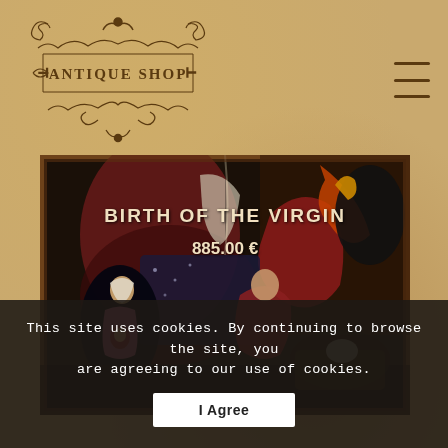[Figure (logo): Antique Shop ornate logo with decorative scrollwork borders and text 'ANTIQUE SHOP' in the center]
[Figure (photo): Religious icon painting depicting the Birth of the Virgin, with figures in red and dark tones on a wooden panel]
BIRTH OF THE VIRGIN
885.00 €
This site uses cookies. By continuing to browse the site, you are agreeing to our use of cookies.
I Agree